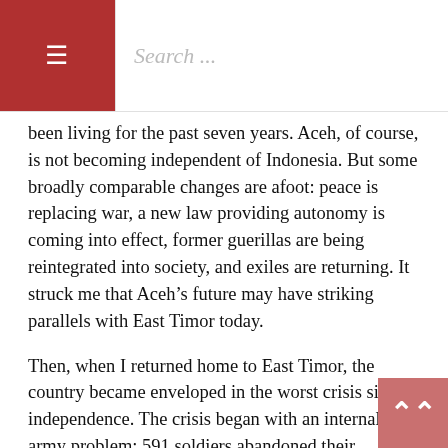≡  Search ...
been living for the past seven years. Aceh, of course, is not becoming independent of Indonesia. But some broadly comparable changes are afoot: peace is replacing war, a new law providing autonomy is coming into effect, former guerillas are being reintegrated into society, and exiles are returning. It struck me that Aceh's future may have striking parallels with East Timor today.
Then, when I returned home to East Timor, the country became enveloped in the worst crisis since independence. The crisis began with an internal army problem: 591 soldiers abandoned their barracks claiming severe discrimination from their Lorosae (Eastern)